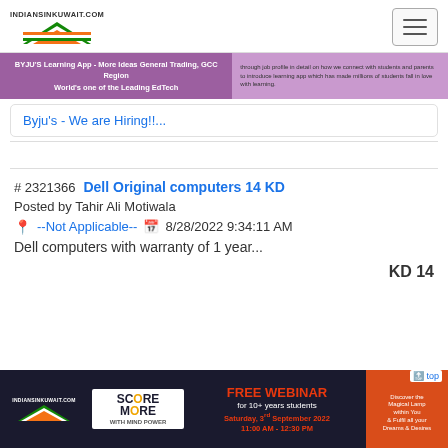INDIANSINKUWAIT.COM
[Figure (screenshot): BYJU's job listing ad banner with purple background showing 'BYJU'S Learning App - More Ideas General Trading, GCC Region World's one of the Leading EdTech']
Byju's - We are Hiring!!...
# 2321366  Dell Original computers 14 KD
Posted by Tahir Ali Motiwala
--Not Applicable--  8/28/2022 9:34:11 AM
Dell computers with warranty of 1 year...
KD 14
[Figure (infographic): Bottom advertisement banner for Indians in Kuwait Score More with Mind Power Free Webinar for 10+ years students Saturday 3rd September 2022 11:00 AM - 12:30 PM]